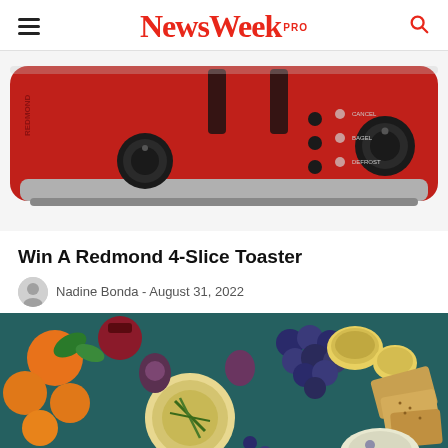NewsWeek PRO
[Figure (photo): Red Redmond 4-slice toaster with chrome trim, control dials and buttons on a white background]
Win A Redmond 4-Slice Toaster
Nadine Bonda - August 31, 2022
[Figure (photo): Overhead view of a charcuterie/grazing board with fruits, cheeses, figs, grapes, crackers, baked brie with rosemary on a teal background]